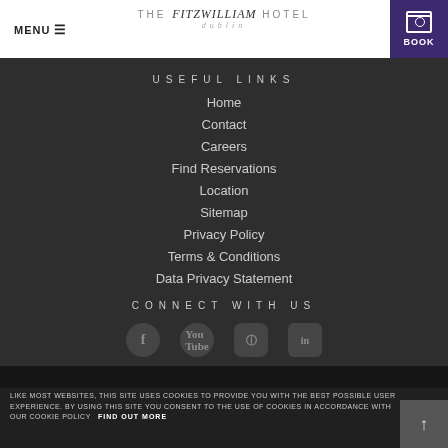MENU | THE fitzwilliam HOTEL dublin | BOOK
USEFUL LINKS
Home
Contact
Careers
Find Reservations
Location
Sitemap
Privacy Policy
Terms & Conditions
Data Privacy Statement
CONNECT WITH US
LIKE MOST WEBSITES, THIS SITE USES COOKIES TO PROVIDE YOU WITH THE BEST POSSIBLE USER EXPERIENCE. BY USING THIS SITE YOU CONSENT TO THE USE OF COOKIES IN ACCORDANCE WITH OUR COOKIE POLICY   FIND OUT MORE